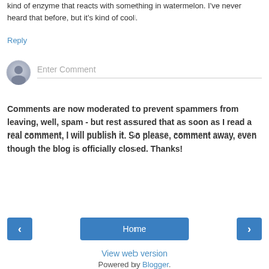kind of enzyme that reacts with something in watermelon. I've never heard that before, but it's kind of cool.
Reply
[Figure (other): Avatar placeholder circle with user silhouette icon, gray tones]
Enter Comment
Comments are now moderated to prevent spammers from leaving, well, spam - but rest assured that as soon as I read a real comment, I will publish it. So please, comment away, even though the blog is officially closed. Thanks!
‹
Home
›
View web version
Powered by Blogger.